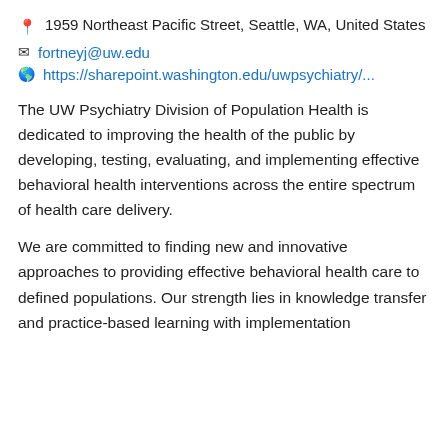1959 Northeast Pacific Street, Seattle, WA, United States
fortneyj@uw.edu
https://sharepoint.washington.edu/uwpsychiatry/...
The UW Psychiatry Division of Population Health is dedicated to improving the health of the public by developing, testing, evaluating, and implementing effective behavioral health interventions across the entire spectrum of health care delivery.
We are committed to finding new and innovative approaches to providing effective behavioral health care to defined populations. Our strength lies in knowledge transfer and practice-based learning with implementation